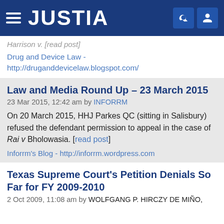JUSTIA
Harrison v. [read post]
Drug and Device Law - http://druganddevicelaw.blogspot.com/
Law and Media Round Up – 23 March 2015
23 Mar 2015, 12:42 am by INFORRM
On 20 March 2015, HHJ Parkes QC (sitting in Salisbury) refused the defendant permission to appeal in the case of Rai v Bholowasia. [read post]
Inforrm's Blog - http://inforrm.wordpress.com
Texas Supreme Court's Petition Denials So Far for FY 2009-2010
2 Oct 2009, 11:08 am by WOLFGANG P. HIRCZY DE MIÑO,